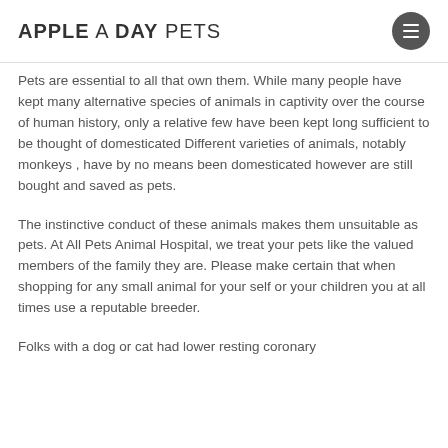APPLE A DAY PETS
Pets are essential to all that own them. While many people have kept many alternative species of animals in captivity over the course of human history, only a relative few have been kept long sufficient to be thought of domesticated Different varieties of animals, notably monkeys , have by no means been domesticated however are still bought and saved as pets.
The instinctive conduct of these animals makes them unsuitable as pets. At All Pets Animal Hospital, we treat your pets like the valued members of the family they are. Please make certain that when shopping for any small animal for your self or your children you at all times use a reputable breeder.
Folks with a dog or cat had lower resting coronary